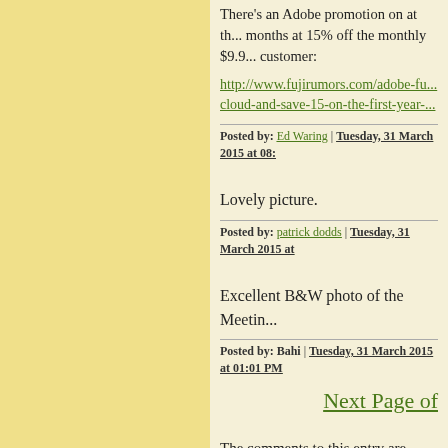There's an Adobe promotion on at th... months at 15% off the monthly $9.9... customer:
http://www.fujirumors.com/adobe-fu... cloud-and-save-15-on-the-first-year-...
Posted by: Ed Waring | Tuesday, 31 March 2015 at 08:...
Lovely picture.
Posted by: patrick dodds | Tuesday, 31 March 2015 at ...
Excellent B&W photo of the Meetin...
Posted by: Bahi | Tuesday, 31 March 2015 at 01:01 PM
Next Page of
The comments to this entry are close...